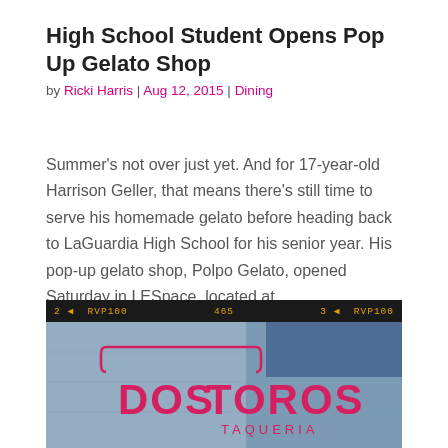High School Student Opens Pop Up Gelato Shop
by Ricki Harris | Aug 12, 2015 | Dining
Summer's not over just yet. And for 17-year-old Harrison Geller, that means there's still time to serve his homemade gelato before heading back to LaGuardia High School for his senior year. His pop-up gelato shop, Polpo Gelato, opened Saturday in LESpace, located at…
[Figure (photo): Photo of a Dos Toros Taqueria sign on a metal surface, shown in a film strip style frame with orange text showing '2 RVP100', '465', '3 RVP100' along the top film strip bar.]